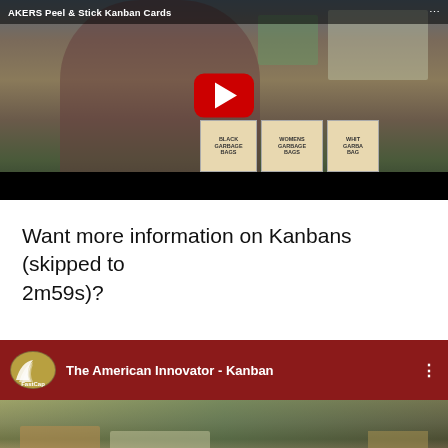[Figure (screenshot): YouTube video thumbnail showing a man in a dark red shirt holding Peel & Stick Kanban Cards, with a red YouTube play button overlay. Title bar reads 'AKERS Peel & Stick Kanban Cards'. Storage shelves visible in background with boxes labeled BLACK GARBAGE BAGS, WOMENS GARBAGE BAGS, WHIT GARBA BAG.]
Want more information on Kanbans (skipped to 2m59s)?
[Figure (screenshot): YouTube video thumbnail for 'The American Innovator - Kanban' by FastCap channel. Dark red header bar with FastCap logo and video title. Video scene shows workshop/storage area.]